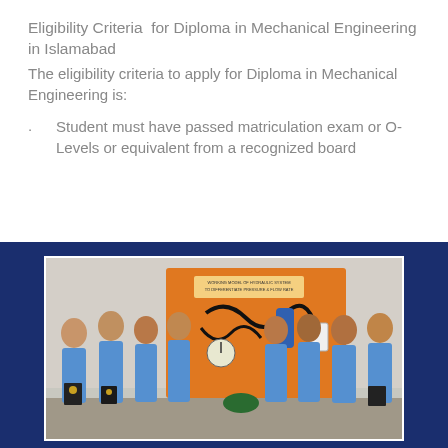Eligibility Criteria  for Diploma in Mechanical Engineering in Islamabad
The eligibility criteria to apply for Diploma in Mechanical Engineering is:
Student must have passed matriculation exam or O-Levels or equivalent from a recognized board
[Figure (photo): Group of male students in blue uniforms standing in front of an orange hydraulic system demonstration model labeled 'Working Model of Hydraulic System to Differentiate Pressure & Flow Rate']